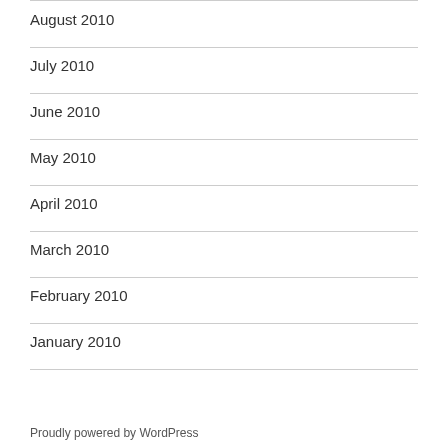August 2010
July 2010
June 2010
May 2010
April 2010
March 2010
February 2010
January 2010
Proudly powered by WordPress